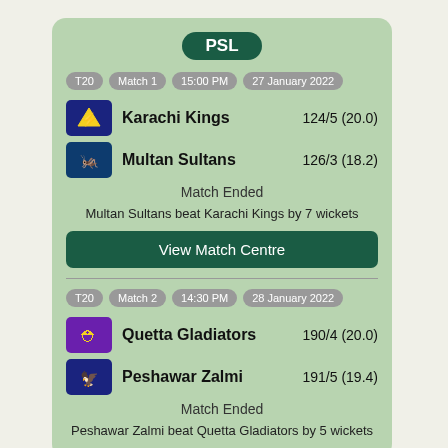PSL
T20  Match 1  15:00 PM  27 January 2022
Karachi Kings  124/5 (20.0)
Multan Sultans  126/3 (18.2)
Match Ended
Multan Sultans beat Karachi Kings by 7 wickets
View Match Centre
T20  Match 2  14:30 PM  28 January 2022
Quetta Gladiators  190/4 (20.0)
Peshawar Zalmi  191/5 (19.4)
Match Ended
Peshawar Zalmi beat Quetta Gladiators by 5 wickets